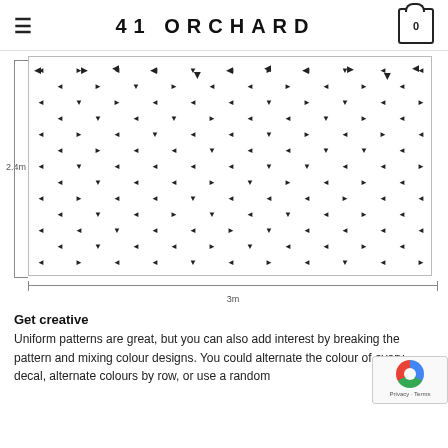41 ORCHARD
[Figure (illustration): A rectangular diagram showing a wallpaper/decal pattern with small triangle arrows scattered randomly across the surface. The rectangle is labeled 2.4m tall on the left and 3m wide on the bottom, with dimension lines.]
Get creative
Uniform patterns are great, but you can also add interest by breaking the pattern and mixing colour designs. You could alternate the colour of every decal, alternate colours by row, or use a random